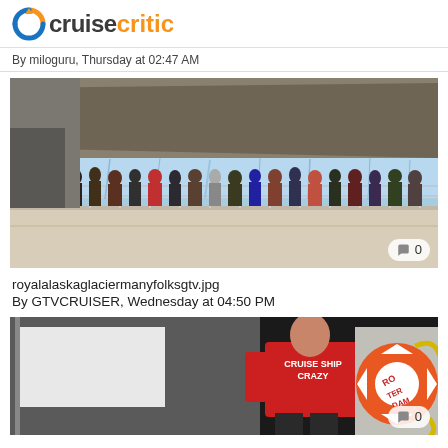cruisecritic
By miloguru, Thursday at 02:47 AM
[Figure (photo): Cruise ship deck with passengers looking at a glacier in Alaska]
royalalaskaglaciermanyfolksgtv.jpg
By GTVCRUISER, Wednesday at 04:50 PM
[Figure (photo): Person in red 'CRUISE SHIP CRAZY' t-shirt standing next to a life preserver ring labeled ROTTERDAM on a cruise ship]